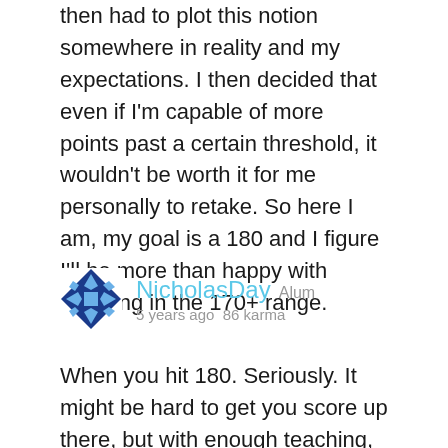then had to plot this notion somewhere in reality and my expectations. I then decided that even if I'm capable of more points past a certain threshold, it wouldn't be worth it for me personally to retake. So here I am, my goal is a 180 and I figure I'll be more than happy with anything in the 170+ range.
NicholasDay Alum
5 years ago  86 karma
When you hit 180. Seriously. It might be hard to get you score up there, but with enough teaching, practice, and understanding, anyone can get there score to that mark. The real question is how long will that take someone and how much time are